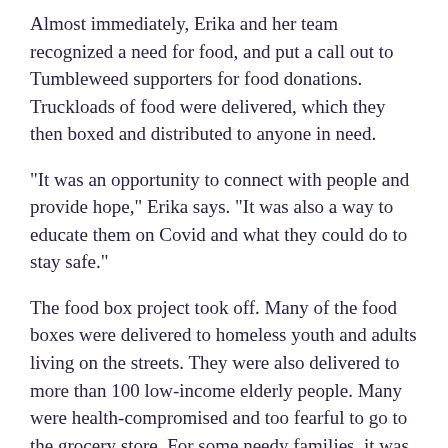Almost immediately, Erika and her team recognized a need for food, and put a call out to Tumbleweed supporters for food donations. Truckloads of food were delivered, which they then boxed and distributed to anyone in need.
“It was an opportunity to connect with people and provide hope,” Erika says. “It was also a way to educate them on Covid and what they could do to stay safe.”
The food box project took off. Many of the food boxes were delivered to homeless youth and adults living on the streets. They were also delivered to more than 100 low-income elderly people. Many were health-compromised and too fearful to go to the grocery store. For some needy families, it was the first time they had accepted a food box.
Another immediate need was a safe place for homeless people to quarantine should they develop coronavirus symptoms. With the help of public health officials, Erika and Patti set up a quarantine and